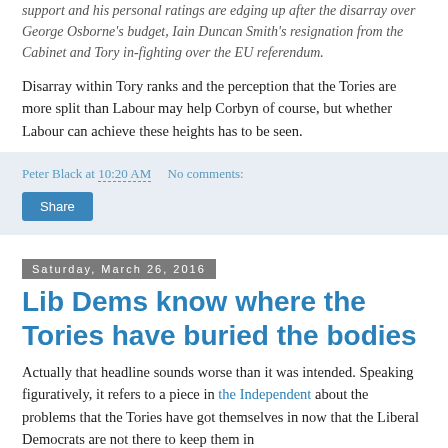support and his personal ratings are edging up after the disarray over George Osborne's budget, Iain Duncan Smith's resignation from the Cabinet and Tory in-fighting over the EU referendum.
Disarray within Tory ranks and the perception that the Tories are more split than Labour may help Corbyn of course, but whether Labour can achieve these heights has to be seen.
Peter Black at 10:20 AM   No comments:
Share
Saturday, March 26, 2016
Lib Dems know where the Tories have buried the bodies
Actually that headline sounds worse than it was intended. Speaking figuratively, it refers to a piece in the Independent about the problems that the Tories have got themselves in now that the Liberal Democrats are not there to keep them in